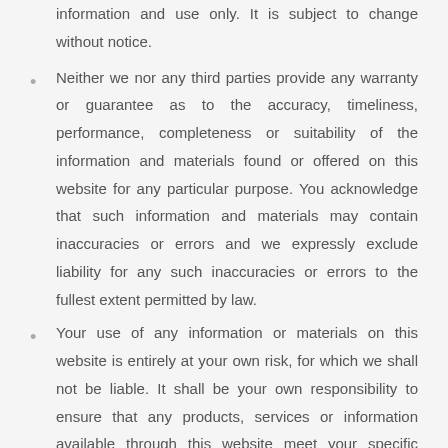information and use only. It is subject to change without notice.
Neither we nor any third parties provide any warranty or guarantee as to the accuracy, timeliness, performance, completeness or suitability of the information and materials found or offered on this website for any particular purpose. You acknowledge that such information and materials may contain inaccuracies or errors and we expressly exclude liability for any such inaccuracies or errors to the fullest extent permitted by law.
Your use of any information or materials on this website is entirely at your own risk, for which we shall not be liable. It shall be your own responsibility to ensure that any products, services or information available through this website meet your specific requirements.
This website contains material which is owned by or